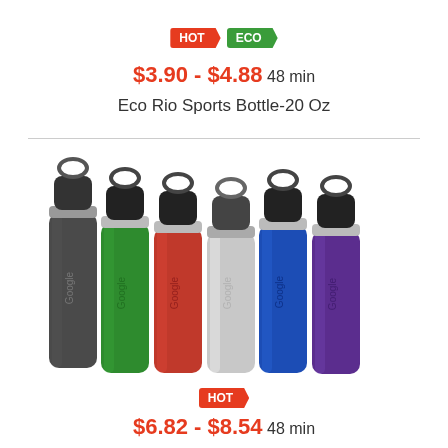[Figure (other): HOT and ECO badge labels]
$3.90 - $4.88 48 min
Eco Rio Sports Bottle-20 Oz
[Figure (photo): Six sports water bottles in different colors (dark gray, green, red, silver, blue, purple) with carabiner caps and Google logo]
[Figure (other): HOT badge label]
$6.82 - $8.54 48 min